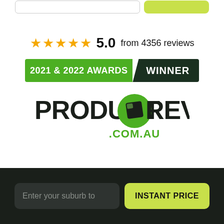[Figure (logo): Partial UI elements at top of page — input field stub and yellow-green button stub, cropped from above]
★★★★★ 5.0  from 4356 reviews
[Figure (logo): 2021 & 2022 AWARDS WINNER banner — green left section with white text '2021 & 2022 AWARDS' and dark green right section with white text 'WINNER']
[Figure (logo): ProductReview.com.au logo — bold dark text PRODUCT REVIEW with green speech bubble icon containing a dark cube, and .COM.AU below in green]
Enter your suburb to
INSTANT PRICE